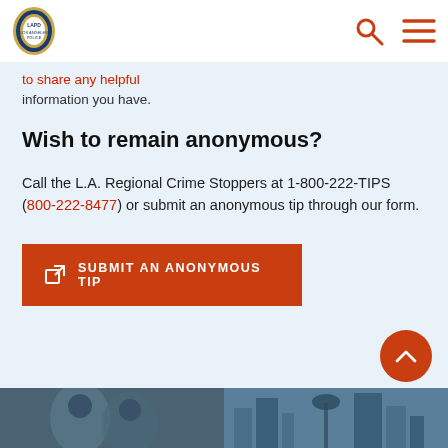LAPD logo and navigation bar with search and menu icons
to share any helpful information you have.
Wish to remain anonymous?
Call the L.A. Regional Crime Stoppers at 1-800-222-TIPS (800-222-8477) or submit an anonymous tip through our form.
SUBMIT AN ANONYMOUS TIP
[Figure (photo): Bottom strip showing two photo panels: left shows people in blue-tinted monochrome, right shows a city skyline with palm trees in blue tones]